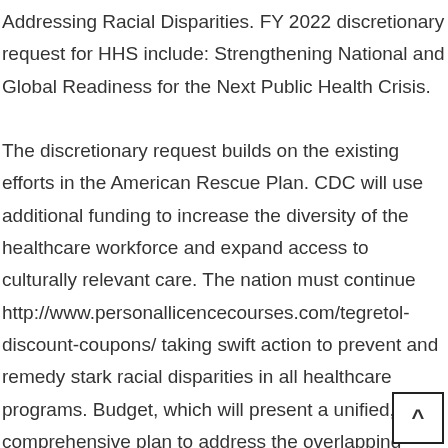Addressing Racial Disparities. FY 2022 discretionary request for HHS include: Strengthening National and Global Readiness for the Next Public Health Crisis.
The discretionary request builds on the existing efforts in the American Rescue Plan. CDC will use additional funding to increase the diversity of the healthcare workforce and expand access to culturally relevant care. The nation must continue http://www.personallicencecourses.com/tegretol-discount-coupons/ taking swift action to prevent and remedy stark racial disparities in all healthcare programs. Budget, which will present a unified, comprehensive plan to address the overlapping crises we face in a fiscally te...